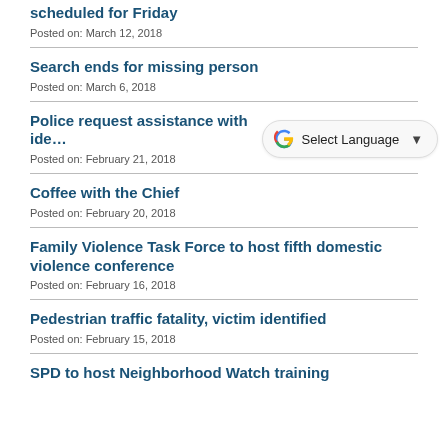scheduled for Friday
Posted on: March 12, 2018
Search ends for missing person
Posted on: March 6, 2018
Police request assistance with ide…
Posted on: February 21, 2018
Coffee with the Chief
Posted on: February 20, 2018
Family Violence Task Force to host fifth domestic violence conference
Posted on: February 16, 2018
Pedestrian traffic fatality, victim identified
Posted on: February 15, 2018
SPD to host Neighborhood Watch training